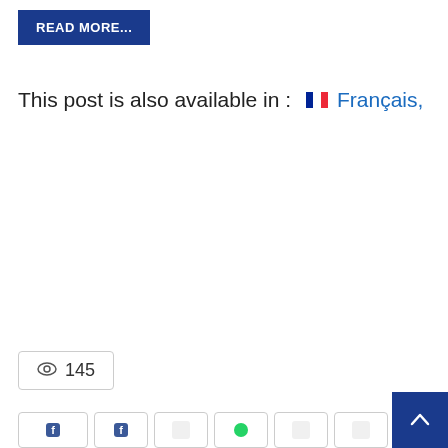READ MORE...
This post is also available in : 🇫🇷 Français,
145
[Figure (other): Scroll to top button (blue square with white upward arrow)]